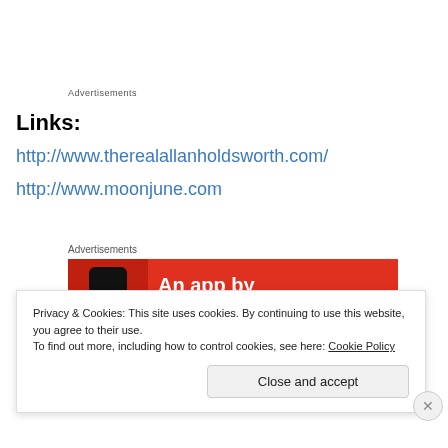Advertisements
Links:
http://www.therealallanholdsworth.com/
http://www.moonjune.com
Advertisements
[Figure (illustration): Advertisement banner with red background showing a smartphone and text 'An app by listeners, for']
Privacy & Cookies: This site uses cookies. By continuing to use this website, you agree to their use.
To find out more, including how to control cookies, see here: Cookie Policy